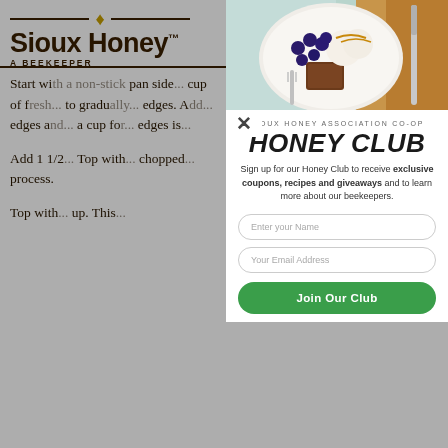[Figure (logo): Sioux Honey logo with bee icon, decorative lines, brand name and tagline 'A BEEKEEPER']
Start wi... pan side... cup of fr... to gradu... edges. A... edges a... a cup fo... edges is...
Add 1 1/2... Top with... chopped... process.
Top with... up. This...
[Figure (photo): Food photo showing dessert with blueberries, cream, and caramel on a white plate with a fork and knife on wooden surface]
SIOUX HONEY ASSOCIATION CO-OP
HONEY CLUB
Sign up for our Honey Club to receive exclusive coupons, recipes and giveaways and to learn more about our beekeepers.
Enter your Name
Your Email Address
Join Our Club